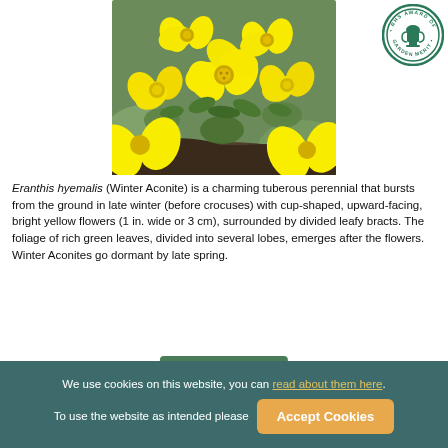[Figure (photo): Close-up photograph of bright yellow cup-shaped Winter Aconite (Eranthis hyemalis) flowers with green divided leafy bracts, growing from dark soil]
[Figure (logo): RHS Award of Garden Merit circular badge with green border, trophy icon in center]
Eranthis hyemalis (Winter Aconite) is a charming tuberous perennial that bursts from the ground in late winter (before crocuses) with cup-shaped, upward-facing, bright yellow flowers (1 in. wide or 3 cm), surrounded by divided leafy bracts. The foliage of rich green leaves, divided into several lobes, emerges after the flowers. Winter Aconites go dormant by late spring.
Add to Collection
We use cookies on this website, you can read about them here. To use the website as intended please Accept Cookies